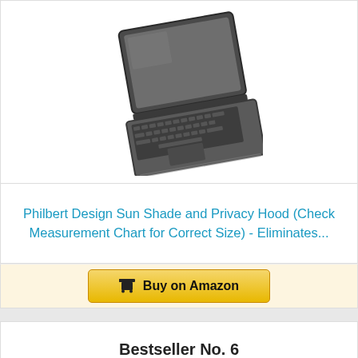[Figure (photo): A laptop computer shown from an angle with the screen open, dark gray/black color, viewed from above-front perspective]
Philbert Design Sun Shade and Privacy Hood (Check Measurement Chart for Correct Size) - Eliminates...
Buy on Amazon
Bestseller No. 6
[Figure (photo): VR / FPV headset goggles in black and gray, shown from front-side angle with head strap visible]